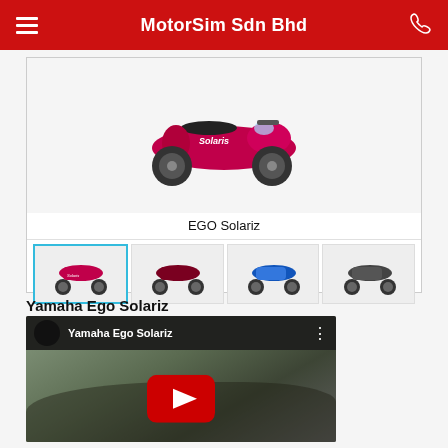MotorSim Sdn Bhd
[Figure (screenshot): Product image gallery for EGO Solariz scooter. Main area shows scooter image above text label 'EGO Solariz'. Below are four thumbnail images of scooter color variants. First thumbnail (red/magenta) is selected with blue border.]
Yamaha Ego Solariz
[Figure (screenshot): YouTube video thumbnail for 'Yamaha Ego Solariz' showing a dark video frame with YouTube play button overlay and video title bar at top.]